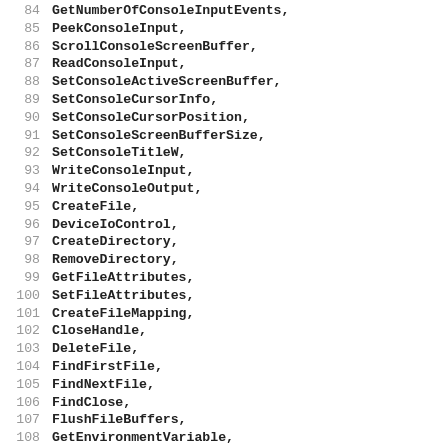84 GetNumberOfConsoleInputEvents,
85 PeekConsoleInput,
86 ScrollConsoleScreenBuffer,
87 ReadConsoleInput,
88 SetConsoleActiveScreenBuffer,
89 SetConsoleCursorInfo,
90 SetConsoleCursorPosition,
91 SetConsoleScreenBufferSize,
92 SetConsoleTitleW,
93 WriteConsoleInput,
94 WriteConsoleOutput,
95 CreateFile,
96 DeviceIoControl,
97 CreateDirectory,
98 RemoveDirectory,
99 GetFileAttributes,
100 SetFileAttributes,
101 CreateFileMapping,
102 CloseHandle,
103 DeleteFile,
104 FindFirstFile,
105 FindNextFile,
106 FindClose,
107 FlushFileBuffers,
108 GetEnvironmentVariable,
109 GetLastError,
110 SetErrorMode,
111 GetStdHandle,
112 MapViewOfFileEx,
113 ReadFile,
114 SetEndOfFile,
115 SetFilePointer,